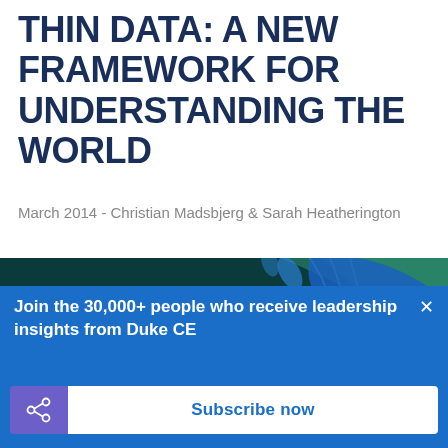THIN DATA: A NEW FRAMEWORK FOR UNDERSTANDING THE WORLD
March 2014 - Christian Madsbjerg & Sarah Heatherington
[Figure (illustration): Decorative abstract illustration with teal, dark green, black, and purple shapes suggesting botanical or underwater forms]
Join the 30,000+ people who receive leadership insights from Duke CE
Subscribe now